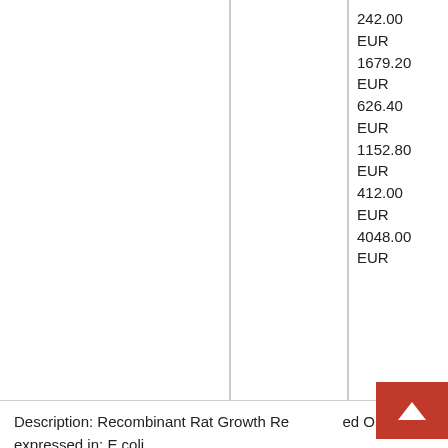| Catalog Number | Brand | Price |
| --- | --- | --- |
| 4-RPB603Ra01 | Cloud-Clone | 242.00 EUR
1679.20 EUR
626.40 EUR
1152.80 EUR
412.00 EUR
4048.00 EUR |
Description: Recombinant Rat Growth Re[lated On?]expressed in: E.coli